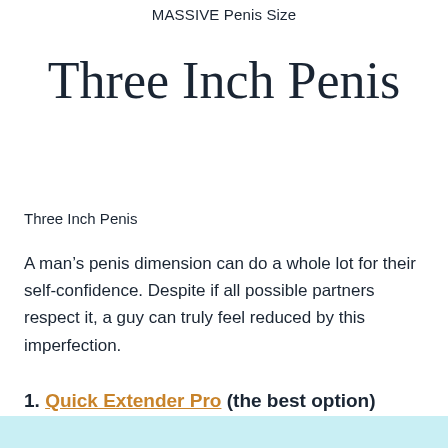MASSIVE Penis Size
Three Inch Penis
Three Inch Penis
A man’s penis dimension can do a whole lot for their self-confidence. Despite if all possible partners respect it, a guy can truly feel reduced by this imperfection.
1. Quick Extender Pro (the best option)